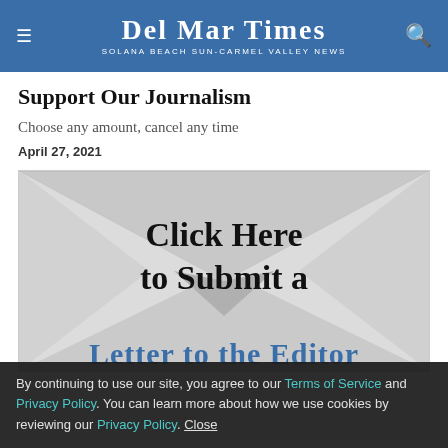Del Mar Times — Solana Beach Sun-Carmel Valley News
Support Our Journalism
Choose any amount, cancel any time
April 27, 2021
[Figure (illustration): Envelope graphic with text 'Click Here to Submit a Letter to the Editor']
By continuing to use our site, you agree to our Terms of Service and Privacy Policy. You can learn more about how we use cookies by reviewing our Privacy Policy. Close